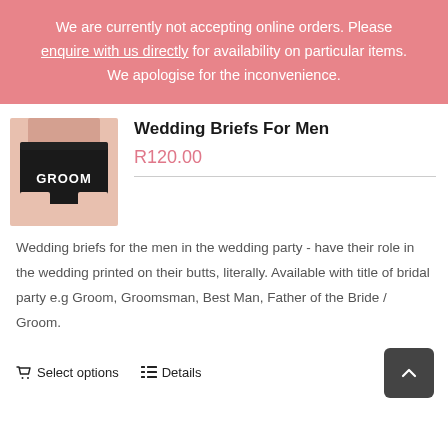We are currently not accepting online orders. Please enquire with us directly for availability on particular items. We apologise for the inconvenience.
[Figure (photo): Black men's briefs with white text 'GROOM' printed on them, modeled on a person. Product photo.]
Wedding Briefs For Men
R120.00
Wedding briefs for the men in the wedding party - have their role in the wedding printed on their butts, literally. Available with title of bridal party e.g Groom, Groomsman, Best Man, Father of the Bride / Groom.
Select options   Details